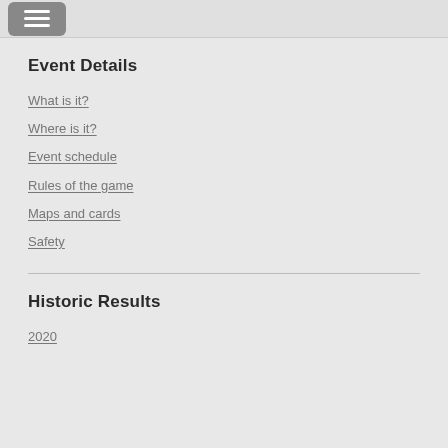☰
Event Details
What is it?
Where is it?
Event schedule
Rules of the game
Maps and cards
Safety
Historic Results
2020